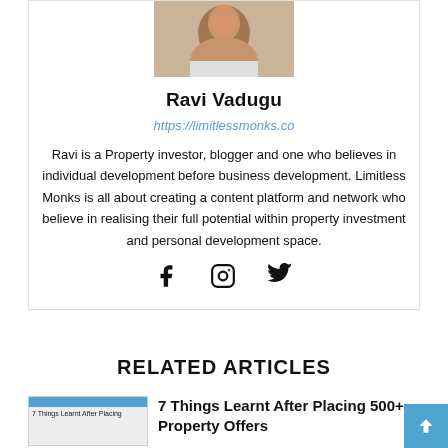[Figure (photo): Headshot photo of Ravi Vadugu, a man in a light-colored shirt, cropped at top]
Ravi Vadugu
https://limitlessmonks.co
Ravi is a Property investor, blogger and one who believes in individual development before business development. Limitless Monks is all about creating a content platform and network who believe in realising their full potential within property investment and personal development space.
[Figure (infographic): Social media icons: Facebook, Instagram, Twitter]
RELATED ARTICLES
[Figure (photo): Thumbnail image for article '7 Things Learnt After Placing 500+ Property Offers' with blue header bar]
7 Things Learnt After Placing 500+ Property Offers